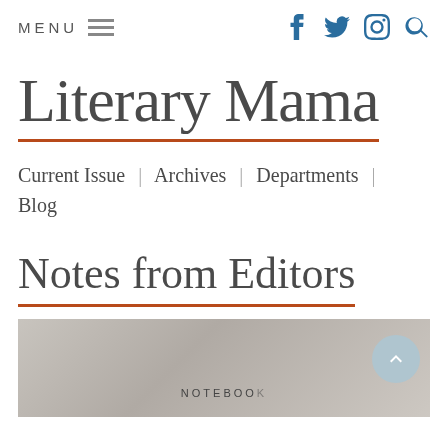MENU
Literary Mama
Current Issue | Archives | Departments | Blog
Notes from Editors
[Figure (photo): Photo of a notebook, pen, twine, scissors, and decorative items on a light surface. Text 'NOTEBOOK' partially visible.]